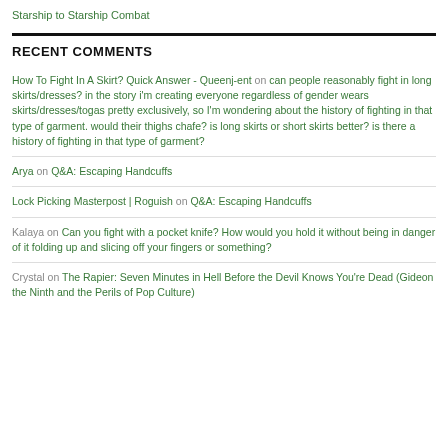Starship to Starship Combat
RECENT COMMENTS
How To Fight In A Skirt? Quick Answer - Queenj-ent on can people reasonably fight in long skirts/dresses? in the story i'm creating everyone regardless of gender wears skirts/dresses/togas pretty exclusively, so I'm wondering about the history of fighting in that type of garment. would their thighs chafe? is long skirts or short skirts better? is there a history of fighting in that type of garment?
Arya on Q&A: Escaping Handcuffs
Lock Picking Masterpost | Roguish on Q&A: Escaping Handcuffs
Kalaya on Can you fight with a pocket knife? How would you hold it without being in danger of it folding up and slicing off your fingers or something?
Crystal on The Rapier: Seven Minutes in Hell Before the Devil Knows You're Dead (Gideon the Ninth and the Perils of Pop Culture)